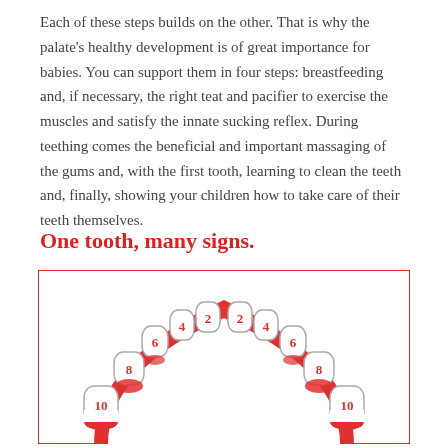Each of these steps builds on the other. That is why the palate's healthy development is of great importance for babies. You can support them in four steps: breastfeeding and, if necessary, the right teat and pacifier to exercise the muscles and satisfy the innate sucking reflex. During teething comes the beneficial and important massaging of the gums and, with the first tooth, learning to clean the teeth and, finally, showing your children how to take care of their teeth themselves.
One tooth, many signs.
[Figure (illustration): Diagram of a dental arch (upper teeth viewed from below) showing numbered teeth in an arch shape. Teeth are numbered from center outward: 2, 2 (central), 4, 4, 6, 6, 8, 8, 10, 10 (molars). Red gum tissue visible at the base of each tooth. The arch is outlined in red/pink on a white background within a red-bordered rectangle.]